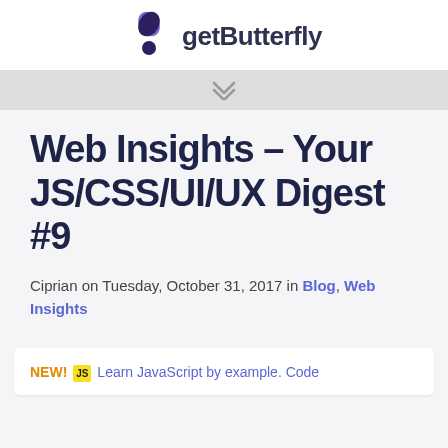getButterfly
Web Insights – Your JS/CSS/UI/UX Digest #9
Ciprian on Tuesday, October 31, 2017 in Blog, Web Insights
NEW! Js Learn JavaScript by example. Code